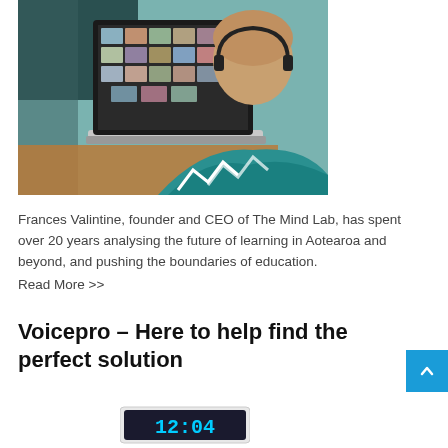[Figure (photo): Person with headset viewed from behind, sitting at a desk with a laptop showing a video conference grid of participants. Person wears a teal top.]
Frances Valintine, founder and CEO of The Mind Lab, has spent over 20 years analysing the future of learning in Aotearoa and beyond, and pushing the boundaries of education.
Read More >>
Voicepro – Here to help find the perfect solution
[Figure (photo): Digital clock display showing 12:04]